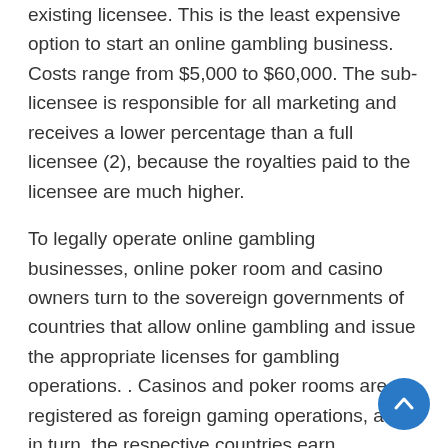existing licensee. This is the least expensive option to start an online gambling business. Costs range from $5,000 to $60,000. The sub-licensee is responsible for all marketing and receives a lower percentage than a full licensee (2), because the royalties paid to the licensee are much higher.
To legally operate online gambling businesses, online poker room and casino owners turn to the sovereign governments of countries that allow online gambling and issue the appropriate licenses for gambling operations. . Casinos and poker rooms are registered as foreign gaming operations, and in turn, the respective countries earn significant license fees and tax-generated revenue.
As the use of the Internet spreads throughout the world, the online gambling business will continue to be one of the most profitable online business